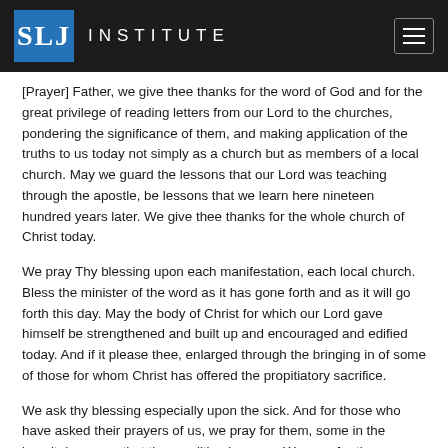SLJ INSTITUTE
[Prayer] Father, we give thee thanks for the word of God and for the great privilege of reading letters from our Lord to the churches, pondering the significance of them, and making application of the truths to us today not simply as a church but as members of a local church. May we guard the lessons that our Lord was teaching through the apostle, be lessons that we learn here nineteen hundred years later. We give thee thanks for the whole church of Christ today.
We pray Thy blessing upon each manifestation, each local church. Bless the minister of the word as it has gone forth and as it will go forth this day. May the body of Christ for which our Lord gave himself be strengthened and built up and encouraged and edified today. And if it please thee, enlarged through the bringing in of some of those for whom Christ has offered the propitiatory sacrifice.
We ask thy blessing especially upon the sick. And for those who have asked their prayers of us, we pray for them, some in the hospital we pray that the condition improve. We pray for th...